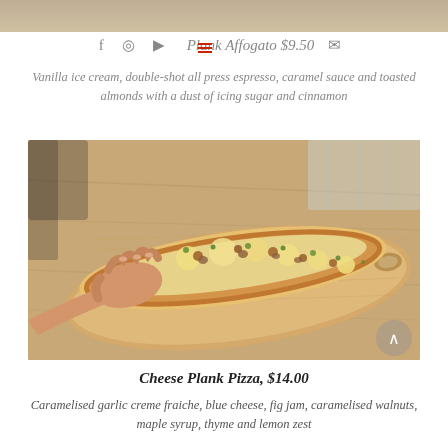[Figure (photo): Top portion of a previous food image, partially visible at the top of the page]
Plank Affogato $9.50
Vanilla ice cream, double-shot all press espresso, caramel sauce and toasted almonds with a dust of icing sugar and cinnamon
[Figure (photo): A hand reaching for a long flatbread/plank pizza topped with melted cheese, fig jam, caramelised walnuts and herbs, served on a wooden board on a wooden table]
Cheese Plank Pizza, $14.00
Caramelised garlic creme fraiche, blue cheese, fig jam, caramelised walnuts, maple syrup, thyme and lemon zest